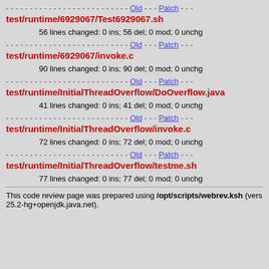------ ------ ------- ------- Old --- Patch ---
test/runtime/6929067/Test6929067.sh
56 lines changed: 0 ins; 56 del; 0 mod; 0 unchg
------ ------ ------- ------- Old --- Patch ---
test/runtime/6929067/invoke.c
90 lines changed: 0 ins; 90 del; 0 mod; 0 unchg
------ ------ ------- ------- Old --- Patch ---
test/runtime/InitialThreadOverflow/DoOverflow.java
41 lines changed: 0 ins; 41 del; 0 mod; 0 unchg
------ ------ ------- ------- Old --- Patch ---
test/runtime/InitialThreadOverflow/invoke.c
72 lines changed: 0 ins; 72 del; 0 mod; 0 unchg
------ ------ ------- ------- Old --- Patch ---
test/runtime/InitialThreadOverflow/testme.sh
77 lines changed: 0 ins; 77 del; 0 mod; 0 unchg
This code review page was prepared using /opt/scripts/webrev.ksh (vers 25.2-hg+openjdk.java.net).